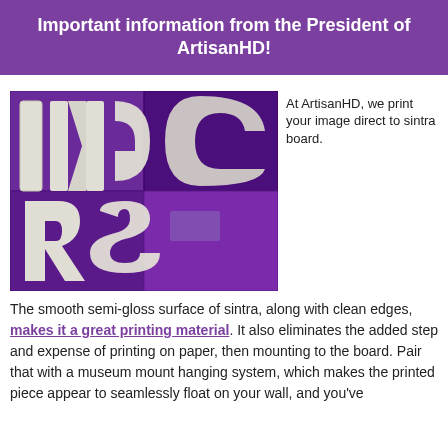Important information from the President of ArtisanHD!
[Figure (photo): Close-up photo of large 3D white letters on a purple sintra board surface, showing letters like partial 'ING', 'A', 'S' in dimensional form with a glossy surface.]
At ArtisanHD, we print your image direct to sintra board. The smooth semi-gloss surface of sintra, along with clean edges, makes it a great printing material. It also eliminates the added step and expense of printing on paper, then mounting to the board. Pair that with a museum mount hanging system, which makes the printed piece appear to seamlessly float on your wall, and you've